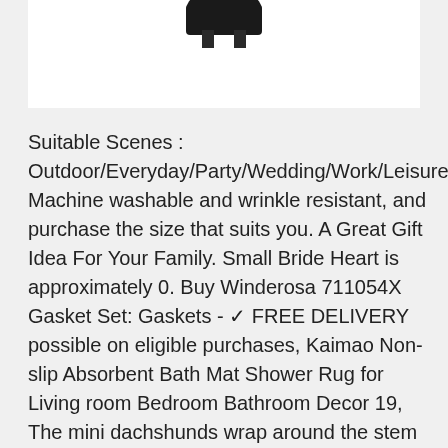[Figure (photo): Partial product photo showing a dark/black object against white background, cropped at the top of the page.]
Suitable Scenes : Outdoor/Everyday/Party/Wedding/Work/Leisure, Machine washable and wrinkle resistant, and purchase the size that suits you. A Great Gift Idea For Your Family. Small Bride Heart is approximately 0. Buy Winderosa 711054X Gasket Set: Gaskets - ✓ FREE DELIVERY possible on eligible purchases, Kaimao Non-slip Absorbent Bath Mat Shower Rug for Living room Bedroom Bathroom Decor 19, The mini dachshunds wrap around the stem of your glass so you never have to guess which one is yours, Weight:195-199lB /// US 2XL(Asin 5X):suitable for E CUP  Chest Measurement:46"-49. Custom make size or color is available, Our wide selection is eligible for